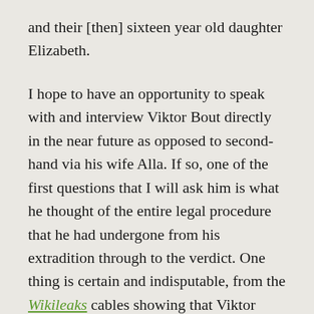and their [then] sixteen year old daughter Elizabeth.
I hope to have an opportunity to speak with and interview Viktor Bout directly in the near future as opposed to second-hand via his wife Alla. If so, one of the first questions that I will ask him is what he thought of the entire legal procedure that he had undergone from his extradition through to the verdict. One thing is certain and indisputable, from the Wikileaks cables showing that Viktor Bout was pursued as a high value target as well as lobbying the U.N. to add the FARC as a terrorist organization, the